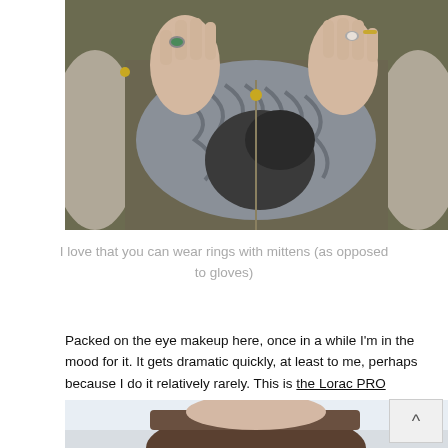[Figure (photo): Close-up photo of a person's hands wearing rings and holding up a chunky knit grey scarf and black mittens, wearing an olive jacket with fur trim.]
I love that you can wear rings with mittens (as opposed to gloves)
Packed on the eye makeup here, once in a while I'm in the mood for it. It gets dramatic quickly, at least to me, perhaps because I do it relatively rarely. This is the Lorac PRO palette at work, reminding me how easy and appealing a soft, shadow liner on the upper lid is.
[Figure (photo): Partial photo of a person's face, cropped at the top of the image, wearing a hat, with a snowy/bright background.]